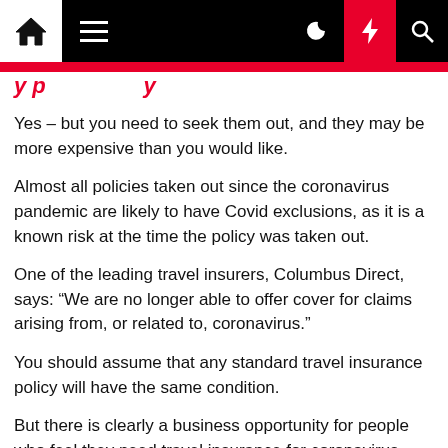Navigation bar with home, menu, moon, lightning, and search icons
Yes – but you need to seek them out, and they may be more expensive than you would like.
Almost all policies taken out since the coronavirus pandemic are likely to have Covid exclusions, as it is a known risk at the time the policy was taken out.
One of the leading travel insurers, Columbus Direct, says: “We are no longer able to offer cover for claims arising from, or related to, coronavirus.”
You should assume that any standard travel insurance policy will have the same condition.
But there is clearly a business opportunity for people who feel they need travel insurance for coronavirus.